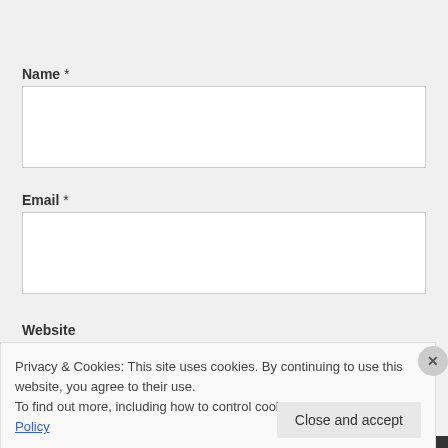Name *
[Figure (screenshot): Empty text input field for Name]
Email *
[Figure (screenshot): Empty text input field for Email]
Website
Privacy & Cookies: This site uses cookies. By continuing to use this website, you agree to their use. To find out more, including how to control cookies, see here: Cookie Policy
Close and accept